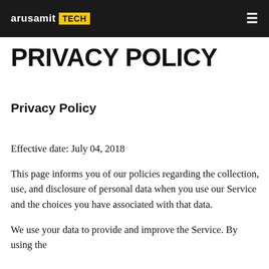arusamit TECH
PRIVACY POLICY
Privacy Policy
Effective date: July 04, 2018
This page informs you of our policies regarding the collection, use, and disclosure of personal data when you use our Service and the choices you have associated with that data.
We use your data to provide and improve the Service. By using the